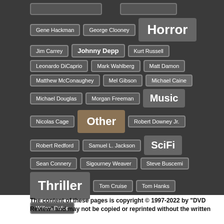Gene Hackman
George Clooney
Horror
Jim Carrey
Johnny Depp
Kurt Russell
Leonardo DiCaprio
Mark Wahlberg
Matt Damon
Matthew McConaughey
Mel Gibson
Michael Caine
Michael Douglas
Morgan Freeman
Music
Nicolas Cage
Other
Robert Downey Jr.
Robert Redford
Samuel L. Jackson
SciFi
Sean Connery
Sigourney Weaver
Steve Buscemi
Thriller
Tom Cruise
Tom Hanks
Willem Dafoe
The content of these pages is copyright © 1997-2022 by “DVD Review” and may not be copied or reprinted without the written